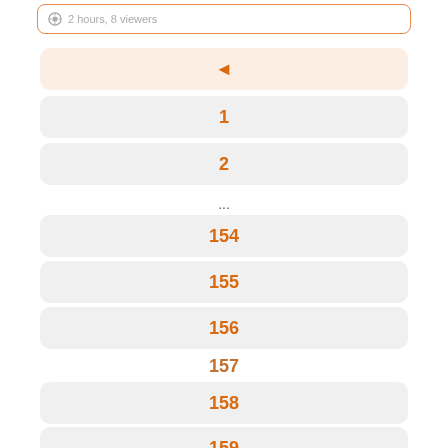2 hours, 8 viewers
◄
1
2
...
154
155
156
157
158
159
160